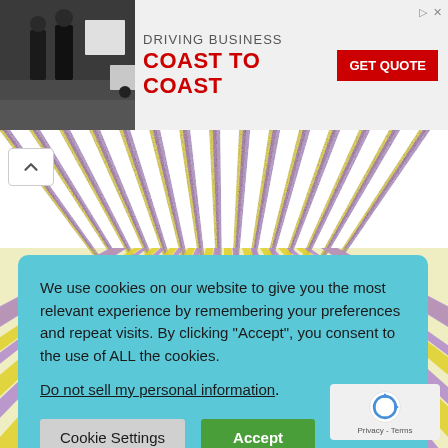[Figure (photo): Advertisement banner: Saia truck driving business coast to coast with GET QUOTE button. Shows two people in warehouse with a red Saia semi-truck.]
[Figure (illustration): Sunburst/starburst background pattern with alternating yellow and purple/lavender rays radiating from center, with distressed/grunge texture. Shown at top and bottom of page behind the cookie consent modal.]
We use cookies on our website to give you the most relevant experience by remembering your preferences and repeat visits. By clicking “Accept”, you consent to the use of ALL the cookies.
Do not sell my personal information.
Cookie Settings
Accept
[Figure (logo): Google reCAPTCHA badge with spinning arrows logo and text Privacy - Terms]